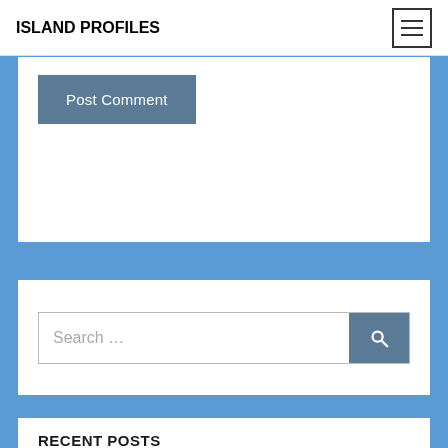ISLAND PROFILES
[Figure (screenshot): Post Comment button — dark steel-blue rounded rectangle with white text]
[Figure (screenshot): Search input field with placeholder text 'Search …' and a steel-blue search button with magnifier icon]
RECENT POSTS
The Islands of Venice